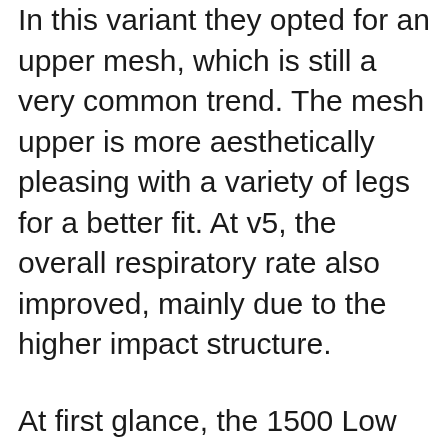In this variant they opted for an upper mesh, which is still a very common trend. The mesh upper is more aesthetically pleasing with a variety of legs for a better fit. At v5, the overall respiratory rate also improved, mainly due to the higher impact structure.
At first glance, the 1500 Low looks like a cross between a profile and a soft lining. The floor will look sweaty, but if you are the right size, you will get the right pillow with the correct answer. New Balance running shoes look a bit longer than their predecessors, so consider splitting the size. It is also a